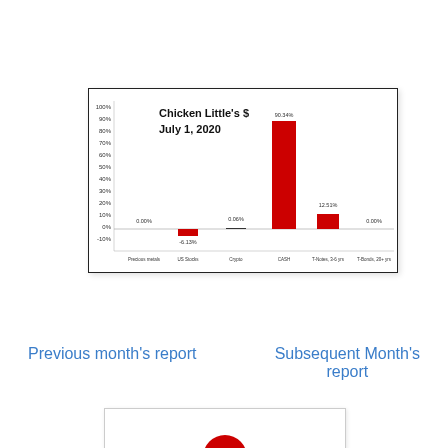[Figure (bar-chart): Chicken Little's $ July 1, 2020]
Previous month's report
Subsequent Month's report